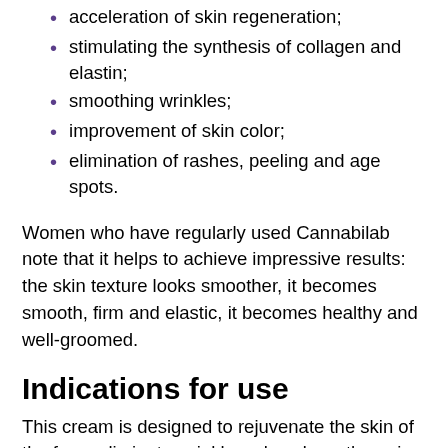acceleration of skin regeneration;
stimulating the synthesis of collagen and elastin;
smoothing wrinkles;
improvement of skin color;
elimination of rashes, peeling and age spots.
Women who have regularly used Cannabilab note that it helps to achieve impressive results: the skin texture looks smoother, it becomes smooth, firm and elastic, it becomes healthy and well-groomed.
Indications for use
This cream is designed to rejuvenate the skin of the face, eliminate wrinkles, slow down the aging process.